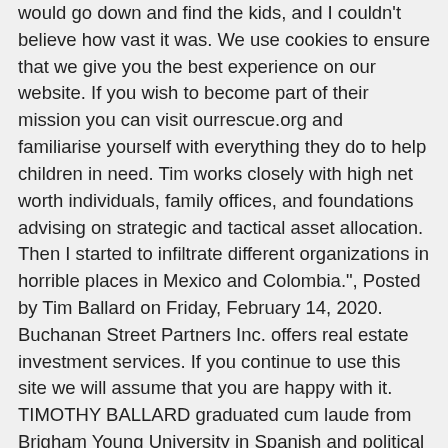would go down and find the kids, and I couldn't believe how vast it was. We use cookies to ensure that we give you the best experience on our website. If you wish to become part of their mission you can visit ourrescue.org and familiarise yourself with everything they do to help children in need. Tim works closely with high net worth individuals, family offices, and foundations advising on strategic and tactical asset allocation. Then I started to infiltrate different organizations in horrible places in Mexico and Colombia.", Posted by Tim Ballard on Friday, February 14, 2020. Buchanan Street Partners Inc. offers real estate investment services. If you continue to use this site we will assume that you are happy with it. TIMOTHY BALLARD graduated cum laude from Brigham Young University in Spanish and political science, then went on to receive an MA (summa cum laude) in international politics from the Monterey Institute of International Studies. THE CHILDREN NEED FAMILIES PROJECT: As the parents of seven children, Tim Ballard, Founder of Operation Underground Railroad, and his wife, Katherine Ballard, knew that two more must